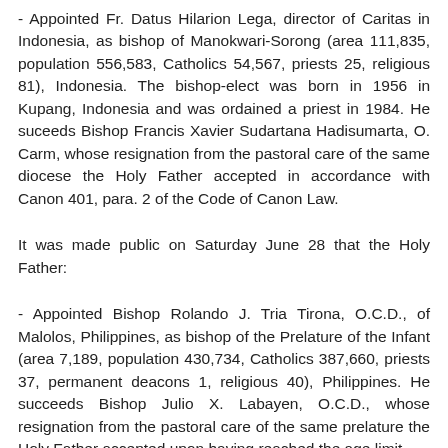- Appointed Fr. Datus Hilarion Lega, director of Caritas in Indonesia, as bishop of Manokwari-Sorong (area 111,835, population 556,583, Catholics 54,567, priests 25, religious 81), Indonesia. The bishop-elect was born in 1956 in Kupang, Indonesia and was ordained a priest in 1984. He suceeds Bishop Francis Xavier Sudartana Hadisumarta, O. Carm, whose resignation from the pastoral care of the same diocese the Holy Father accepted in accordance with Canon 401, para. 2 of the Code of Canon Law.
It was made public on Saturday June 28 that the Holy Father:
- Appointed Bishop Rolando J. Tria Tirona, O.C.D., of Malolos, Philippines, as bishop of the Prelature of the Infant (area 7,189, population 430,734, Catholics 387,660, priests 37, permanent deacons 1, religious 40), Philippines. He succeeds Bishop Julio X. Labayen, O.C.D., whose resignation from the pastoral care of the same prelature the Holy Father accepted upon having reached the age limit.
- Erected the diocese of Cubao, the Philippines, with territory